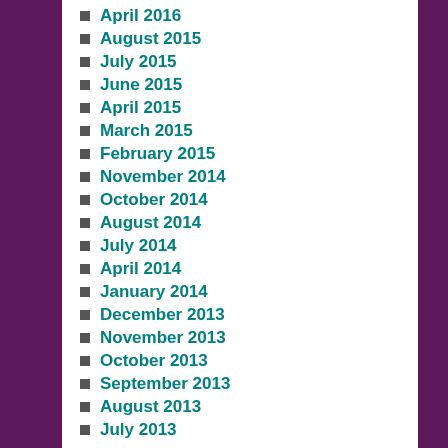April 2016
August 2015
July 2015
June 2015
April 2015
March 2015
February 2015
November 2014
October 2014
August 2014
July 2014
April 2014
January 2014
December 2013
November 2013
October 2013
September 2013
August 2013
July 2013
CATEGORIES